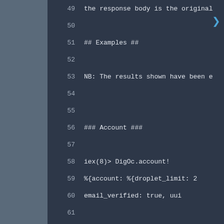49    the response body is the original
50
51    ## Examples ##
52
53    NB: The results shown have been e
54
55
56    ### Account ###
57
58        iex(8)> DigOc.account!
59        %{account: %{droplet_limit: 2
60            email_verified: true, uui
61
62    ### Actions and Pagination ###
63
64        iex(10)> res = DigOc.actions!
65        %{actions: [%{completed_at: "
66            region: "nyc3", resource
67            started_at: "2015-01-10T
68            type: "destroy"},
69        %{completed_at: "2015-01-0
70            resource_id: 3723351, re